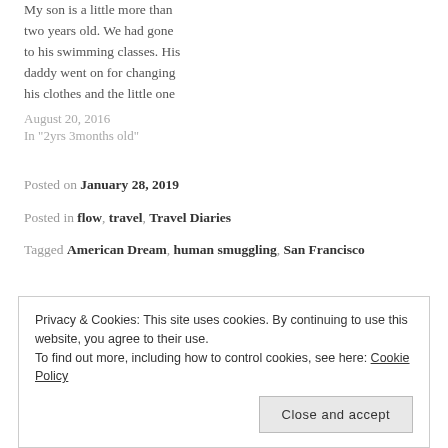My son is a little more than two years old. We had gone to his swimming classes. His daddy went on for changing his clothes and the little one
August 20, 2016
In "2yrs 3months old"
Posted on January 28, 2019
Posted in flow, travel, Travel Diaries
Tagged American Dream, human smuggling, San Francisco
Privacy & Cookies: This site uses cookies. By continuing to use this website, you agree to their use.
To find out more, including how to control cookies, see here: Cookie Policy
Close and accept